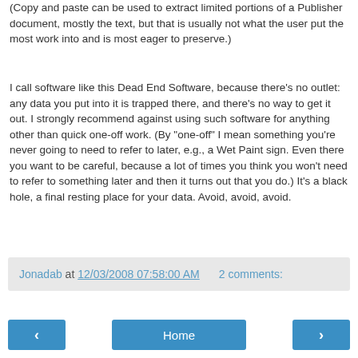(Copy and paste can be used to extract limited portions of a Publisher document, mostly the text, but that is usually not what the user put the most work into and is most eager to preserve.)
I call software like this Dead End Software, because there's no outlet: any data you put into it is trapped there, and there's no way to get it out. I strongly recommend against using such software for anything other than quick one-off work. (By "one-off" I mean something you're never going to need to refer to later, e.g., a Wet Paint sign. Even there you want to be careful, because a lot of times you think you won't need to refer to something later and then it turns out that you do.) It's a black hole, a final resting place for your data. Avoid, avoid, avoid.
Jonadab at 12/03/2008 07:58:00 AM   2 comments:
< Home >